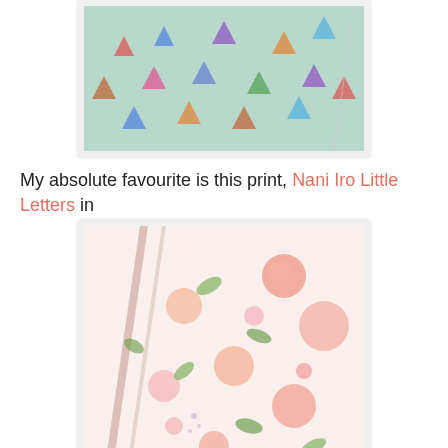[Figure (photo): Close-up photo of mint/sage green fabric with small colorful teapot or kite prints in various colors (red, blue, purple, orange)]
My absolute favourite is this print, Nani Iro Little Letters in
[Figure (photo): Close-up photo of floral double gauze fabric with pink, peach and orange flowers and green leaves on white background, folded with diagonal lines visible]
peach.
This one might be my next order!  Enjoy x  And any questions about double gauze, please ask and I will answer in the comments.
[Figure (logo): verykerryberry logo stamp/label with website name in brown text on a beige/tan label background]